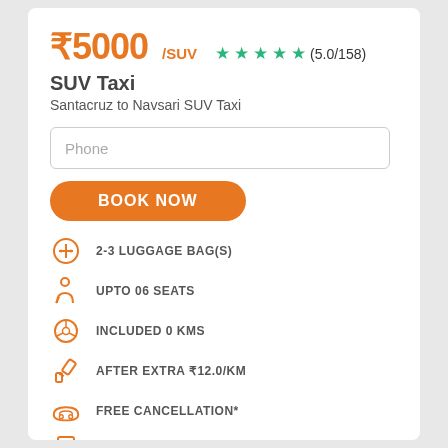₹5000/SUV ★★★★★ (5.0/158)
SUV Taxi
Santacruz to Navsari SUV Taxi
Phone
BOOK NOW
2-3 LUGGAGE BAG(S)
UPTO 06 SEATS
INCLUDED 0 KMS
AFTER EXTRA ₹12.0/KM
FREE CANCELLATION*
PROPERLY SANITIZED TAXI